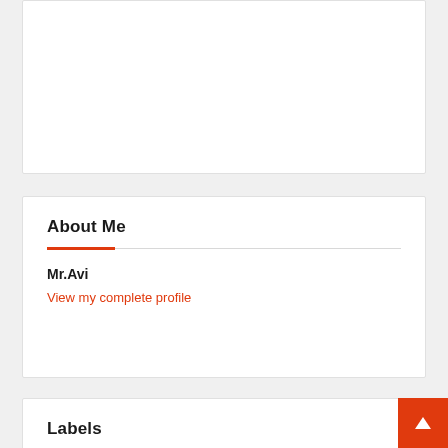[Figure (other): White card area, partially visible at top of page, cut off]
About Me
Mr.Avi
View my complete profile
Labels
[Figure (other): Orange back-to-top button with upward arrow chevron in bottom right corner]